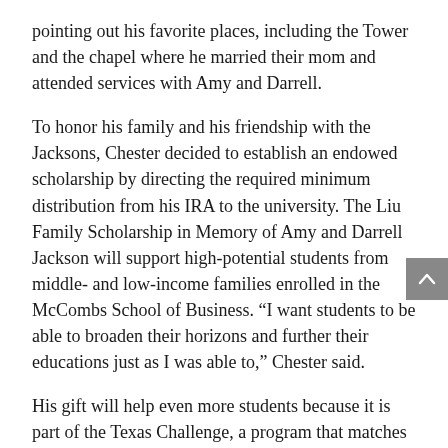pointing out his favorite places, including the Tower and the chapel where he married their mom and attended services with Amy and Darrell.
To honor his family and his friendship with the Jacksons, Chester decided to establish an endowed scholarship by directing the required minimum distribution from his IRA to the university. The Liu Family Scholarship in Memory of Amy and Darrell Jackson will support high-potential students from middle- and low-income families enrolled in the McCombs School of Business. “I want students to be able to broaden their horizons and further their educations just as I was able to,” Chester said.
His gift will help even more students because it is part of the Texas Challenge, a program that matches new endowed scholarships dollar for dollar.
Amy and Darrell were an important part of Chester’s life at UT and beyond. “I believe that Amy had higher expectations of me than my mother did,” he shared. “Oh,